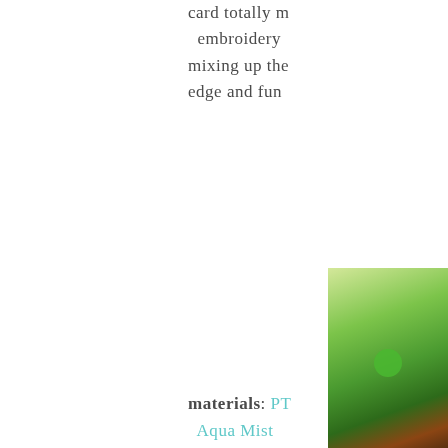card totally m embroidery mixing up the edge and fun
materials: PT Aqua Mist
[Figure (photo): Close-up photo of green plants and stones, positioned in the bottom-right corner of the page]